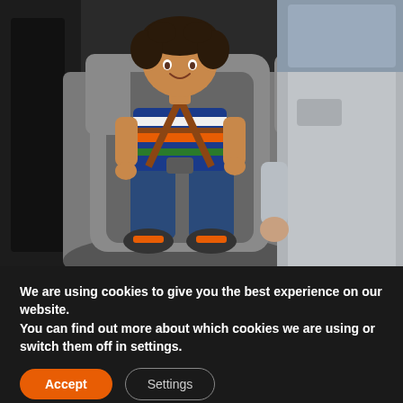[Figure (photo): A smiling young child seated in a gray child car seat inside a vehicle, secured with a harness. An adult in a gray coat stands to the right, adjusting the child's buckle. The child is wearing a colorful striped shirt and blue pants with sneakers.]
We are using cookies to give you the best experience on our website.
You can find out more about which cookies we are using or switch them off in settings.
Accept
Settings